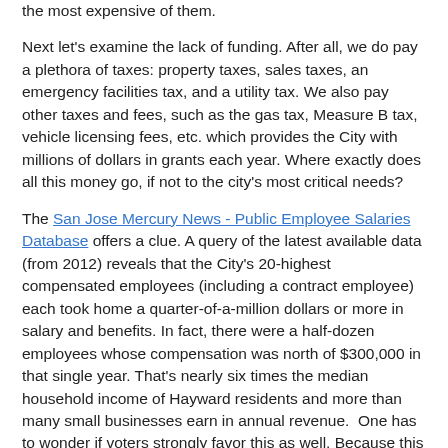the most expensive of them.
Next let's examine the lack of funding. After all, we do pay a plethora of taxes: property taxes, sales taxes, an emergency facilities tax, and a utility tax. We also pay other taxes and fees, such as the gas tax, Measure B tax, vehicle licensing fees, etc. which provides the City with millions of dollars in grants each year. Where exactly does all this money go, if not to the city's most critical needs?
The San Jose Mercury News - Public Employee Salaries Database offers a clue. A query of the latest available data (from 2012) reveals that the City's 20-highest compensated employees (including a contract employee) each took home a quarter-of-a-million dollars or more in salary and benefits. In fact, there were a half-dozen employees whose compensation was north of $300,000 in that single year. That's nearly six times the median household income of Hayward residents and more than many small businesses earn in annual revenue.  One has to wonder if voters strongly favor this as well. Because this is the reality of what a general fund sales tax actually supports.